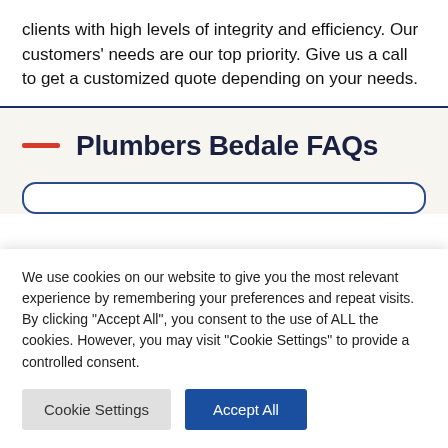clients with high levels of integrity and efficiency. Our customers' needs are our top priority. Give us a call to get a customized quote depending on your needs.
Plumbers Bedale FAQs
We use cookies on our website to give you the most relevant experience by remembering your preferences and repeat visits. By clicking "Accept All", you consent to the use of ALL the cookies. However, you may visit "Cookie Settings" to provide a controlled consent.